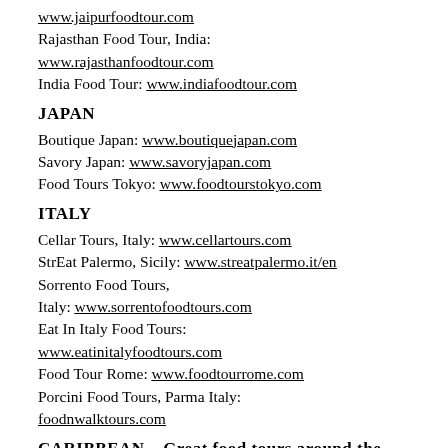www.jaipurfoodtour.com
Rajasthan Food Tour, India: www.rajasthanfoodtour.com
India Food Tour: www.indiafoodtour.com
JAPAN
Boutique Japan: www.boutiquejapan.com
Savory Japan: www.savoryjapan.com
Food Tours Tokyo: www.foodtourstokyo.com
ITALY
Cellar Tours, Italy: www.cellartours.com
StrEat Palermo, Sicily: www.streatpalermo.it/en
Sorrento Food Tours, Italy: www.sorrentofoodtours.com
Eat In Italy Food Tours: www.eatinitalyfoodtours.com
Food Tour Rome: www.foodtourrome.com
Porcini Food Tours, Parma Italy: foodnwalktours.com
CARIBBEAN – Great food tours around the